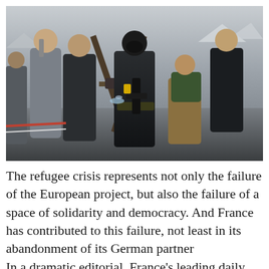[Figure (photo): Outdoor scene showing several people near a water tap/washing station. A masked police officer in full riot gear with a weapon stands in the center. Other individuals — appearing to be migrants or refugees — are around a wooden trestle structure with a water tap. Background shows tents and a grey overcast sky.]
The refugee crisis represents not only the failure of the European project, but also the failure of a space of solidarity and democracy. And France has contributed to this failure, not least in its abandonment of its German partner
In a dramatic editorial, France's leading daily